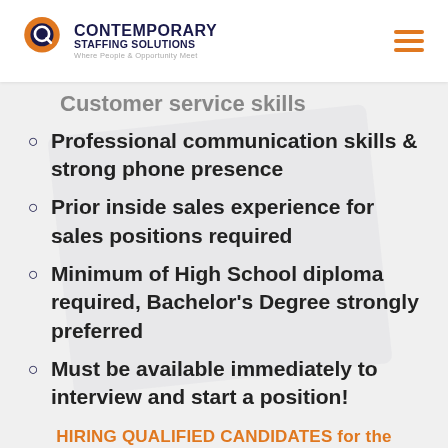[Figure (logo): Contemporary Staffing Solutions logo with speech bubble icon and tagline 'Where People & Opportunity Meet']
Customer service skills
Professional communication skills & strong phone presence
Prior inside sales experience for sales positions required
Minimum of High School diploma required, Bachelor's Degree strongly preferred
Must be available immediately to interview and start a position!
HIRING QUALIFIED CANDIDATES for the following:
Inside Sales Representatives
Chesterbrook, PA | Horsham, PA | Harbord, PA |